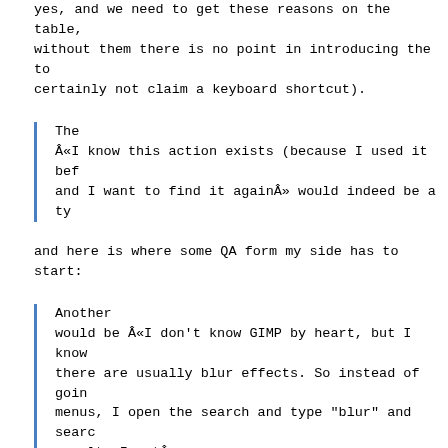yes, and we need to get these reasons on the table, without them there is no point in introducing the to certainly not claim a keyboard shortcut).
The
«I know this action exists (because I used it bef and I want to find it again» would indeed be a ty
and here is where some QA form my side has to start:
Another
would be «I don't know GIMP by heart, but I know there are usually blur effects. So instead of goin menus, I open the search and type "blur" and searc results I get».
(first of all I think all blur examples have to be b is nothing to search about blur, it is under Filters of story. if it is not clear that it is to be found menu, or as a toolbox tool, then this user needs an course in GIMP, which can (today) only be delivered